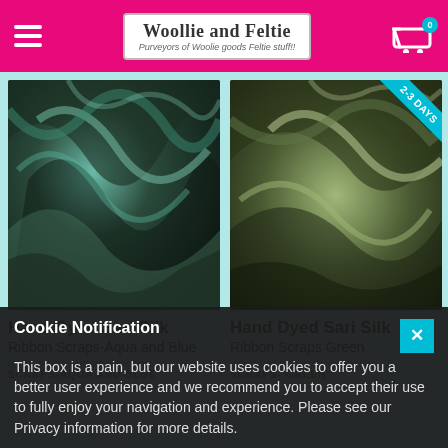Woollie and Feltie — Purveyors of Woolie goods Feltie stuff!!
[Figure (photo): Hand dyed sari silk ribbon scraps in aqua and blue colors, crumpled fabric texture]
[Figure (photo): Hand dyed sari silk ribbon scraps in green color, crumpled fabric texture, with 2-3 DAYS badge]
Hand Dyed Sari Silk
Ribbon Scraps-Aqua and Blue
Hand Dyed Sari Silk
Ribbon Scraps Green
HAND DYED SARI SILK RIBBON SCRAPS-AQUA AND BLUE
HAND DYED SARI SILK RIBBON SCRAPS- GREEN
Cookie Notification
This box is a pain, but our website uses cookies to offer you a better user experience and we recommend you to accept their use to fully enjoy your navigation and experience. Please see our Privacy information for more details.